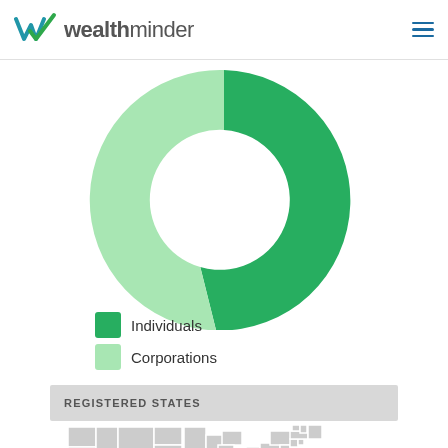wealthminder
[Figure (donut-chart): ]
Individuals
Corporations
REGISTERED STATES
[Figure (map): US map showing registered states, with California highlighted in blue and other states in light grey.]